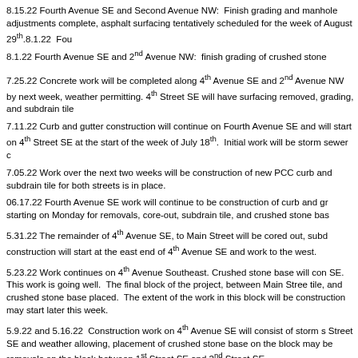8.15.22 Fourth Avenue SE and Second Avenue NW:  Finish grading and manhole adjustments complete, asphalt surfacing tentatively scheduled for the week of August 29th.8.1.22  Fourth Avenue SE and 2nd Avenue NW:  finish grading of crushed stone
8.1.22 Fourth Avenue SE and 2nd Avenue NW:  finish grading of crushed stone
7.25.22 Concrete work will be completed along 4th Avenue SE and 2nd Avenue, weather permitting. 4th Street SE will have surfacing removed, grading, and subdrain tile
7.11.22 Curb and gutter construction will continue on Fourth Avenue SE and will start on 4th Street SE at the start of the week of July 18th.  Initial work will be storm sewer c
7.05.22 Work over the next two weeks will be construction of new PCC curb and subdrain tile for both streets is in place.
06.17.22 Fourth Avenue SE work will continue to be construction of curb and gutter starting on Monday for removals, core-out, subdrain tile, and crushed stone base
5.31.22 The remainder of 4th Avenue SE, to Main Street will be cored out, subdrain construction will start at the east end of 4th Avenue SE and work to the west.
5.23.22 Work continues on 4th Avenue Southeast. Crushed stone base will continue on 4th Avenue SE.  This work is going well.  The final block of the project, between Main Street and 1st Street SE will have storm sewer, subdrain tile, and crushed stone base placed.  The extent of the work in this block will be determined and curb construction may start later this week.
5.9.22 and 5.16.22  Construction work on 4th Avenue SE will consist of storm sewer on 1st Street SE and weather allowing, placement of crushed stone base on the block between 2nd and 1st Street SE. There may be removals on the block between 1st Street SE and 2nd Street SE.